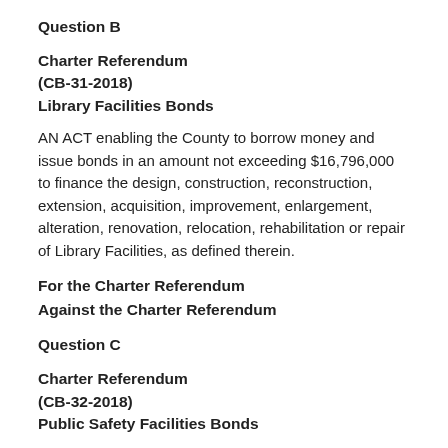Question B
Charter Referendum
(CB-31-2018)
Library Facilities Bonds
AN ACT enabling the County to borrow money and issue bonds in an amount not exceeding $16,796,000 to finance the design, construction, reconstruction, extension, acquisition, improvement, enlargement, alteration, renovation, relocation, rehabilitation or repair of Library Facilities, as defined therein.
For the Charter Referendum
Against the Charter Referendum
Question C
Charter Referendum
(CB-32-2018)
Public Safety Facilities Bonds
AN ACT enabling the County to borrow money and issue bonds in an amount not exceeding $56,053,000 to finance the design,